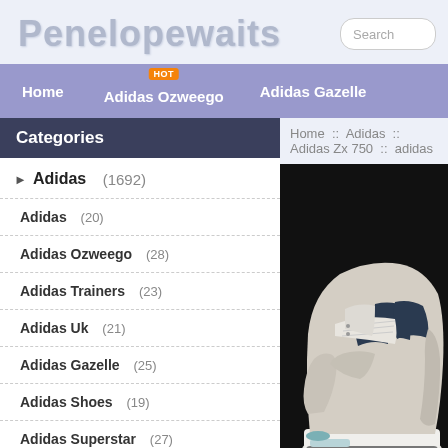Penelopewaits
Home  Adidas Ozweego  Adidas Gazelle
Categories
Adidas (1692)
Adidas (20)
Adidas Ozweego (28)
Adidas Trainers (23)
Adidas Uk (21)
Adidas Gazelle (25)
Adidas Shoes (19)
Adidas Superstar (27)
Adidas Yeezy (22)
Home :: Adidas :: Adidas Zx 750 :: adidas
[Figure (photo): Adidas ZX 750 sneaker in beige/cream color with dark navy three stripes, white sole, on dark background]